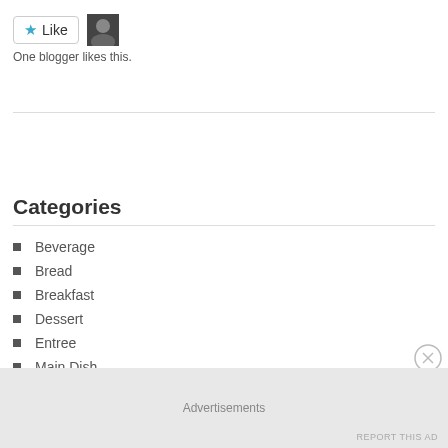[Figure (other): Like button with star icon and a small avatar photo]
One blogger likes this.
Categories
Beverage
Bread
Breakfast
Dessert
Entree
Main Dish
Advertisements
REPORT THIS AD